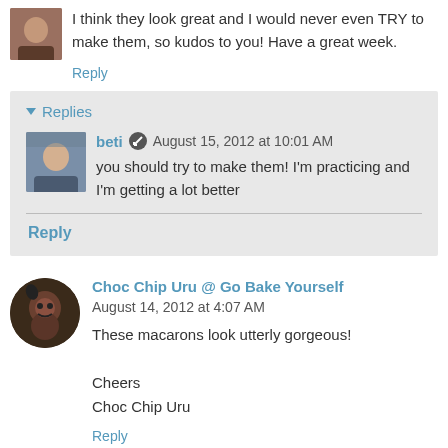I think they look great and I would never even TRY to make them, so kudos to you! Have a great week.
Reply
Replies
beti  August 15, 2012 at 10:01 AM
you should try to make them! I'm practicing and I'm getting a lot better
Reply
Choc Chip Uru @ Go Bake Yourself  August 14, 2012 at 4:07 AM
These macarons look utterly gorgeous!

Cheers
Choc Chip Uru
Reply